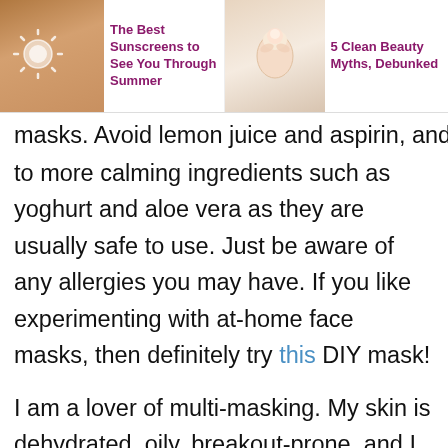The Best Sunscreens to See You Through Summer | 5 Clean Beauty Myths, Debunked
masks. Avoid lemon juice and aspirin, and stick to more calming ingredients such as yoghurt and aloe vera as they are usually safe to use. Just be aware of any allergies you may have. If you like experimenting with at-home face masks, then definitely try this DIY mask!
I am a lover of multi-masking. My skin is dehydrated, oily, breakout-prone, and I have post-inflammatory skin pigmentation so I like to use two masks at once. You can even layer or sleep in some of these masks! Here are some of my favourites.